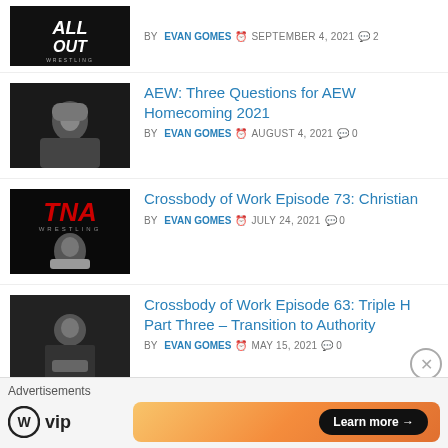[Figure (photo): Thumbnail: All Out wrestling event promotional image]
BY EVAN GOMES  SEPTEMBER 4, 2021  2
[Figure (photo): Thumbnail: AEW wrestler with long hair and beard]
AEW: Three Questions for AEW Homecoming 2021
BY EVAN GOMES  AUGUST 4, 2021  0
[Figure (photo): Thumbnail: TNA Wrestling logo with wrestler holding championship]
Crossbody of Work Episode 73: Christian
BY EVAN GOMES  JULY 24, 2021  0
[Figure (photo): Thumbnail: Triple H holding microphone in suit]
Crossbody of Work Episode 63: Triple H Part Three – Transition to Authority
BY EVAN GOMES  MAY 15, 2021  0
[Figure (photo): Thumbnail: Triple H championship pose]
Crossbody of Work Episode 62: Triple H Part Two – The Reign Of Terror
Advertisements
[Figure (logo): WordPress VIP logo with Learn more button on orange gradient banner]